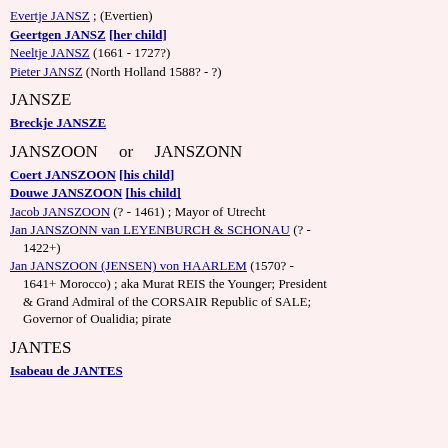Evertje JANSZ ; (Evertien)
Geertgen JANSZ [her child]
Neeltje JANSZ (1661 - 1727?)
Pieter JANSZ (North Holland 1588? - ?)
JANSZE
Breckje JANSZE
JANSZOON or JANSZONN
Coert JANSZOON [his child]
Douwe JANSZOON [his child]
Jacob JANSZOON (? - 1461) ; Mayor of Utrecht
Jan JANSZONN van LEYENBURCH & SCHONAU (? - 1422+)
Jan JANSZOON (JENSEN) von HAARLEM (1570? - 1641+ Morocco) ; aka Murat REIS the Younger; President & Grand Admiral of the CORSAIR Republic of SALE; Governor of Oualidia; pirate
JANTES
Isabeau de JANTES